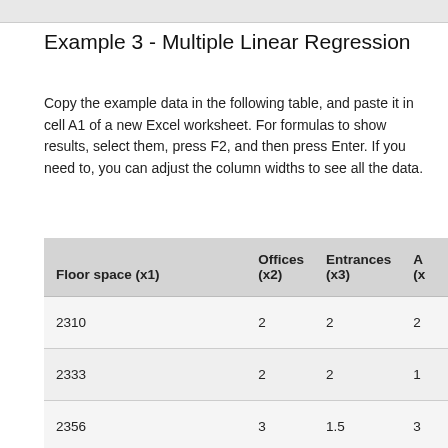Example 3 - Multiple Linear Regression
Copy the example data in the following table, and paste it in cell A1 of a new Excel worksheet. For formulas to show results, select them, press F2, and then press Enter. If you need to, you can adjust the column widths to see all the data.
| Floor space (x1) | Offices (x2) | Entrances (x3) | A (x...) |
| --- | --- | --- | --- |
| 2310 | 2 | 2 | 2 |
| 2333 | 2 | 2 | 1 |
| 2356 | 3 | 1.5 | 3 |
| 2379 | 3 | 2 | 4 |